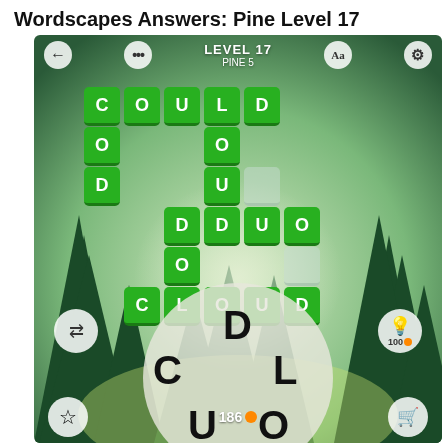Wordscapes Answers: Pine Level 17
[Figure (screenshot): Wordscapes game screenshot showing Pine Level 17 (Level 17, Pine 5). Green letter tiles spell COULD across the top row, with C-O-D going down the left, O-U in a middle column, D-O going down the center-left, DUO across the middle, and CLOUD across the bottom. A circular letter picker shows letters C, D, L, U, O. Score shows 186 coins. Shuffle and hint buttons visible.]